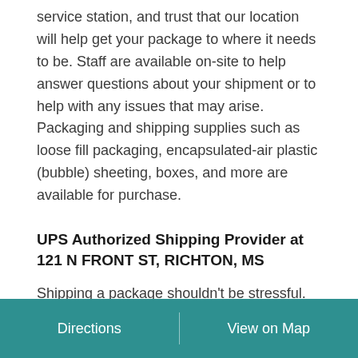service station, and trust that our location will help get your package to where it needs to be. Staff are available on-site to help answer questions about your shipment or to help with any issues that may arise. Packaging and shipping supplies such as loose fill packaging, encapsulated-air plastic (bubble) sheeting, boxes, and more are available for purchase.
UPS Authorized Shipping Provider at 121 N FRONT ST, RICHTON, MS
Shipping a package shouldn't be stressful. Instead, it should be easily accessible and convenient for all customers to complete and continue with their day. With multiple shipping locations throughout RICHTON, UPS makes it easier to find reliable shipping services wherever you are. Visit our local UPS Authorized Shipping Provider
Directions   View on Map